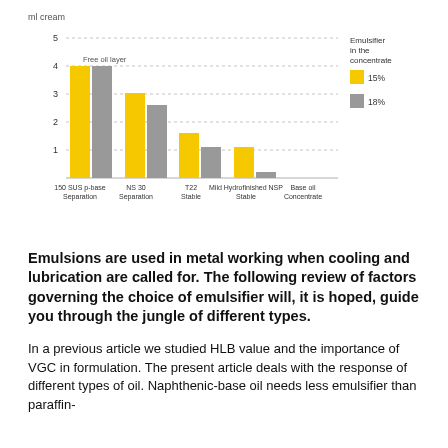[Figure (grouped-bar-chart): ]
Emulsions are used in metal working when cooling and lubrication are called for. The following review of factors governing the choice of emulsifier will, it is hoped, guide you through the jungle of different types.
In a previous article we studied HLB value and the importance of VGC in formulation. The present article deals with the response of different types of oil. Naphthenic-base oil needs less emulsifier than paraffin-